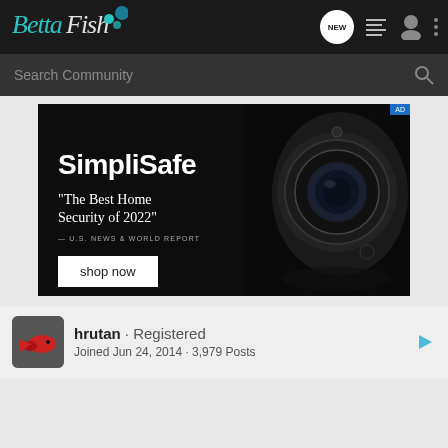[Figure (logo): Betta Fish logo in teal script font with blue dots on dark nav bar]
[Figure (screenshot): SimpliSafe advertisement: black background, camera image on right, text reads SimpliSafe, The Best Home Security of 2022, U.S. News & World Report, shop now button]
hrutan · Registered
Joined Jun 24, 2014 · 3,979 Posts